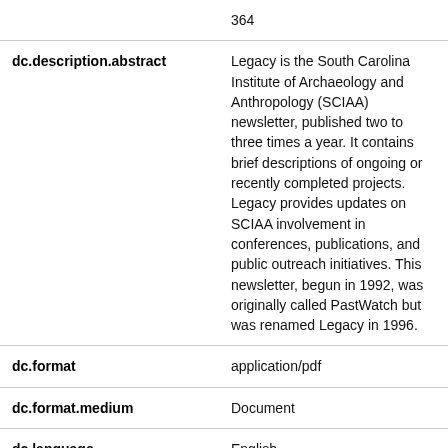| Field | Value |
| --- | --- |
|  | 364 |
| dc.description.abstract | Legacy is the South Carolina Institute of Archaeology and Anthropology (SCIAA) newsletter, published two to three times a year. It contains brief descriptions of ongoing or recently completed projects. Legacy provides updates on SCIAA involvement in conferences, publications, and public outreach initiatives. This newsletter, begun in 1992, was originally called PastWatch but was renamed Legacy in 1996. |
| dc.format | application/pdf |
| dc.format.medium | Document |
| dc.language | English |
| dc.publisher | South Carolina State Library |
| dc.relation.ispartof | South Carolina State Documents Depository |
| dc.rights | Copyright status undetermined. For more |